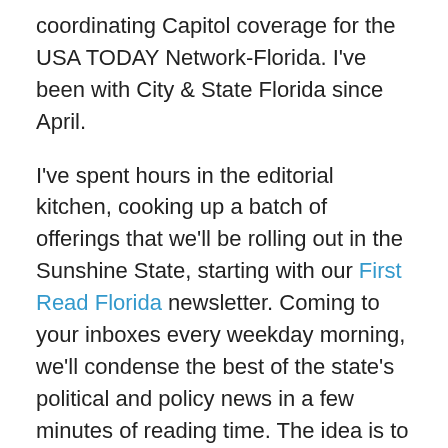coordinating Capitol coverage for the USA TODAY Network-Florida. I've been with City & State Florida since April.
I've spent hours in the editorial kitchen, cooking up a batch of offerings that we'll be rolling out in the Sunshine State, starting with our First Read Florida newsletter. Coming to your inboxes every weekday morning, we'll condense the best of the state's political and policy news in a few minutes of reading time. The idea is to give you the early and quick heads up on the stories driving the day.
Soon, we'll roll out the Florida Power 100 list, a look at the most influential people in Florida politics and government, but also in business, nonprofits and elsewhere. We'll follow that with an event to officially debut the power list and celebrate those on it. More events are in the works from our publisher, Matthew Gull. Future lists planned include